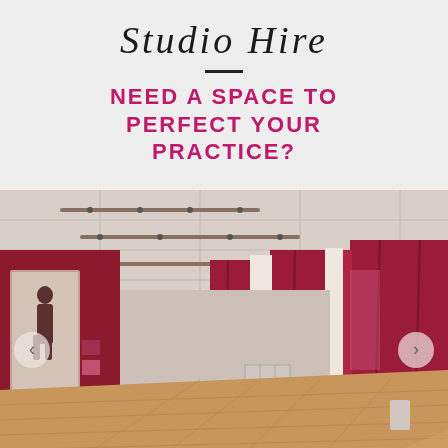Studio Hire
NEED A SPACE TO PERFECT YOUR PRACTICE?
[Figure (photo): Interior of a large dance/fitness studio with wooden sprung floor, dark red curtains along the walls, ceiling-mounted lighting rigs, a mirror on the left wall, and photography equipment. The space is open and well-lit.]
Carousel navigation dots (5 dots, second active)